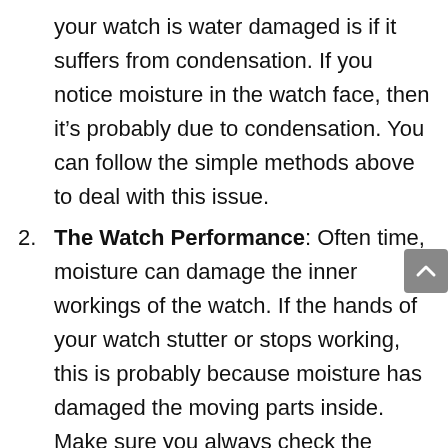your watch is water damaged is if it suffers from condensation. If you notice moisture in the watch face, then it's probably due to condensation. You can follow the simple methods above to deal with this issue.
2. The Watch Performance: Often time, moisture can damage the inner workings of the watch. If the hands of your watch stutter or stops working, this is probably because moisture has damaged the moving parts inside. Make sure you always check the battery (power source) before you conclude.
3. The Luminous Hands and Markers: If you own a luminous watch, it's also a good idea to check the luminous hands and markers especially if the watch is new. Check to see if those parts still